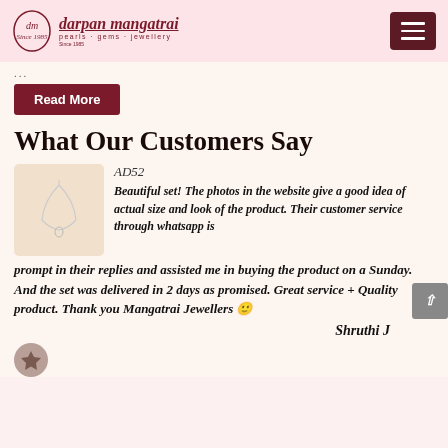darpan mangatrai pearls · gems · jewellery
...
Read More
What Our Customers Say
[Figure (photo): Product photo of a necklace/jewellery set on light background]
AD52
Beautiful set! The photos in the website give a good idea of actual size and look of the product. Their customer service through whatsapp is prompt in their replies and assisted me in buying the product on a Sunday. And the set was delivered in 2 days as promised. Great service + Quality product. Thank you Mangatrai Jewellers 😊
Shruthi J